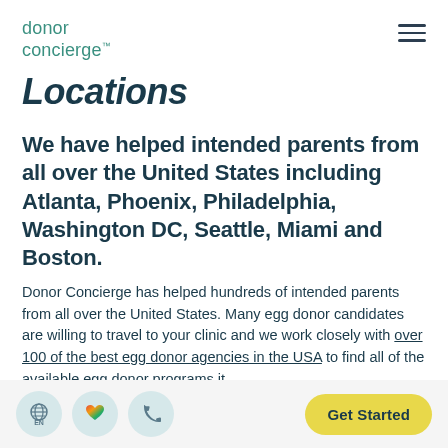donor concierge™
Locations
We have helped intended parents from all over the United States including Atlanta, Phoenix, Philadelphia, Washington DC, Seattle, Miami and Boston.
Donor Concierge has helped hundreds of intended parents from all over the United States. Many egg donor candidates are willing to travel to your clinic and we work closely with over 100 of the best egg donor agencies in the USA to find all of the available egg donor programs it
EN  Get Started